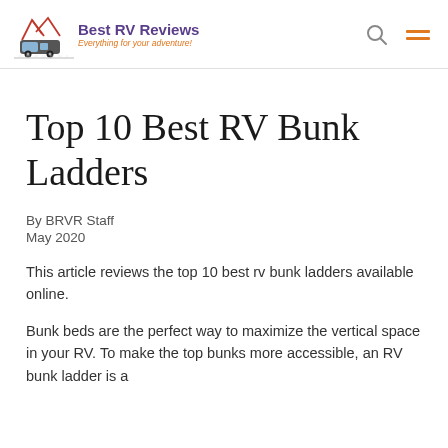Best RV Reviews — Everything for your adventure!
Top 10 Best RV Bunk Ladders
By BRVR Staff
May 2020
This article reviews the top 10 best rv bunk ladders available online.
Bunk beds are the perfect way to maximize the vertical space in your RV. To make the top bunks more accessible, an RV bunk ladder is a